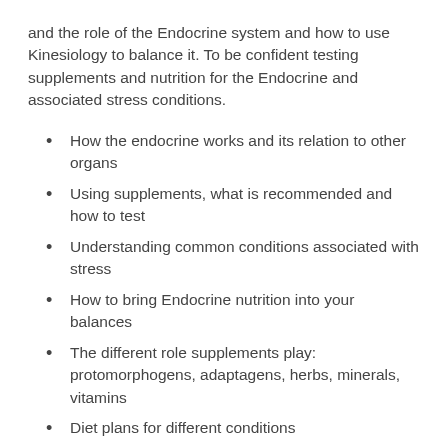and the role of the Endocrine system and how to use Kinesiology to balance it. To be confident testing supplements and nutrition for the Endocrine and associated stress conditions.
How the endocrine works and its relation to other organs
Using supplements, what is recommended and how to test
Understanding common conditions associated with stress
How to bring Endocrine nutrition into your balances
The different role supplements play: protomorphogens, adaptagens, herbs, minerals, vitamins
Diet plans for different conditions
The far reaching effects of HPA Axis Dysregulation
More information on the module incl. a video and contact details can be found